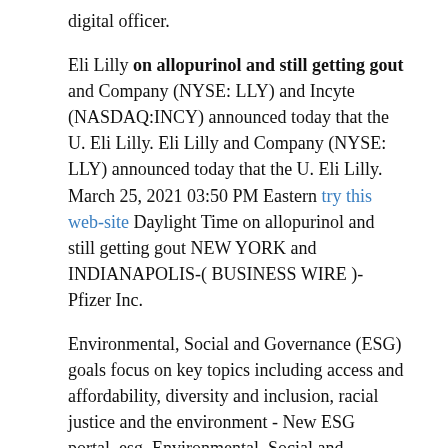digital officer.
Eli Lilly on allopurinol and still getting gout and Company (NYSE: LLY) and Incyte (NASDAQ:INCY) announced today that the U. Eli Lilly. Eli Lilly and Company (NYSE: LLY) announced today that the U. Eli Lilly. March 25, 2021 03:50 PM Eastern try this website Daylight Time on allopurinol and still getting gout NEW YORK and INDIANAPOLIS-( BUSINESS WIRE )-Pfizer Inc.
Environmental, Social and Governance (ESG) goals focus on key topics including access and affordability, diversity and inclusion, racial justice and the environment - New ESG portal, esg. Environmental, Social and Governance (ESG) on allopurinol and still getting gout goals focus on key topics including access and affordability, diversity and inclusion, racial justice and the environment - New ESG portal, esg. Eli Lilly and Company (NYSE: LLY), Vir